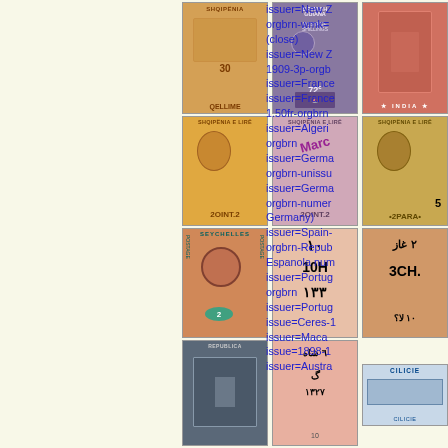[Figure (photo): Grid of postage stamps from various countries including Albania (Shqipenia e Lire), British Guiana, Seychelles, India, Germany, Spain, Portugal, Cilicie, Macao, Australia, Uruguay and others. Stamps are arranged in approximately 5 rows of 3 stamps each.]
issuer=New Zealand orgbrn-wmk= (close) issuer=New Zealand 1909-3p-orgbn issuer=France issuer=France 1.50fr-orgbrn issuer=Algeria orgbrn issuer=Germany orgbrn-unissued issuer=Germany orgbrn-numeral (Germany) issuer=Spain-orgbrn-Republica Espanola num issuer=Portugal orgbrn issuer=Portugal issue=Ceres-1 issuer=Macao issue=1898-1 issuer=Australia